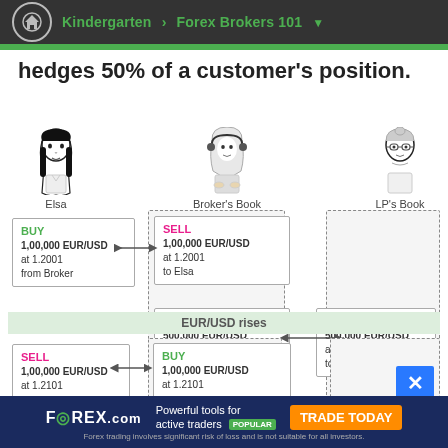Kindergarten > Forex Brokers 101
hedges 50% of a customer's position.
[Figure (flowchart): Diagram showing trade flow between Elsa, Broker's Book, and LP's Book. Elsa BUY 1,00,000 EUR/USD at 1.2001 from Broker. Broker's Book SELL 1,00,000 EUR/USD at 1.2001 to Elsa. Broker's Book BUY 500,000 EUR/USD at 1.2000 from LP. LP's Book SELL 500,000 EUR/USD at 1.2000 to Broker. Bottom section: EUR/USD rises. Elsa SELL 1,00,000 EUR/USD at 1.2101. Broker BUY 1,00,000 EUR/USD at 1.2101.]
EUR/USD rises
FOREX.com | Powerful tools for active traders POPULAR | TRADE TODAY | Forex trading involves significant risk of loss and is not suitable for all investors.